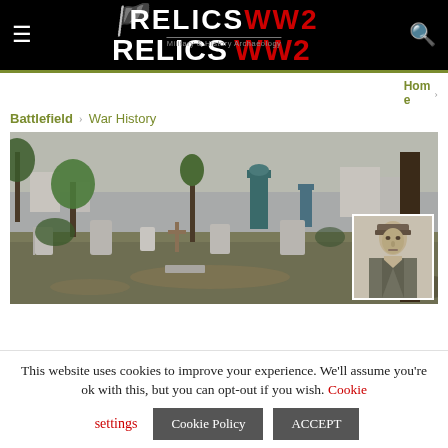RELICS WW2 — Military & History Archaeology
Home > Battlefield > War History
[Figure (photo): A graveyard/cemetery scene with gravestones, trees, and a small inset black-and-white portrait photograph of a military person in the bottom-right corner.]
This website uses cookies to improve your experience. We'll assume you're ok with this, but you can opt-out if you wish. Cookie settings   Cookie Policy   ACCEPT